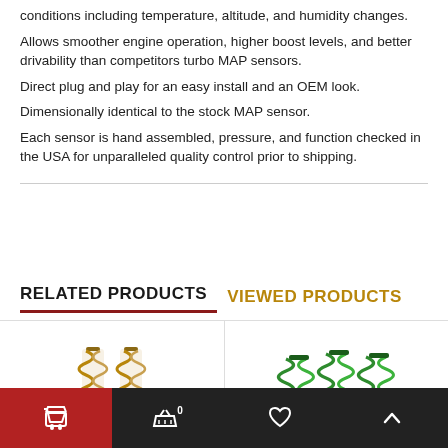conditions including temperature, altitude, and humidity changes.
Allows smoother engine operation, higher boost levels, and better drivability than competitors turbo MAP sensors.
Direct plug and play for an easy install and an OEM look.
Dimensionally identical to the stock MAP sensor.
Each sensor is hand assembled, pressure, and function checked in the USA for unparalleled quality control prior to shipping.
RELATED PRODUCTS
VIEWED PRODUCTS
[Figure (photo): Product image of coilover springs (left product card)]
[Figure (photo): Product image of green coilover springs (right product card)]